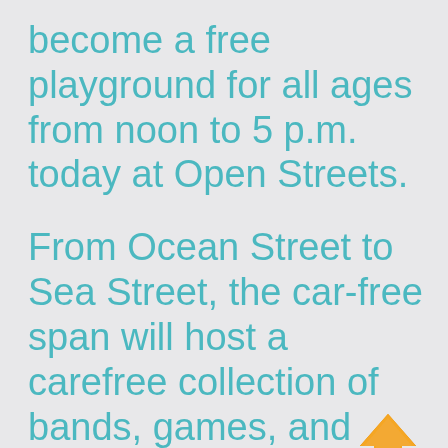become a free playground for all ages from noon to 5 p.m. today at Open Streets.
From Ocean Street to Sea Street, the car-free span will host a carefree collection of bands, games, and opportunities
[Figure (illustration): Orange upward-pointing arrow icon in the bottom-right corner]